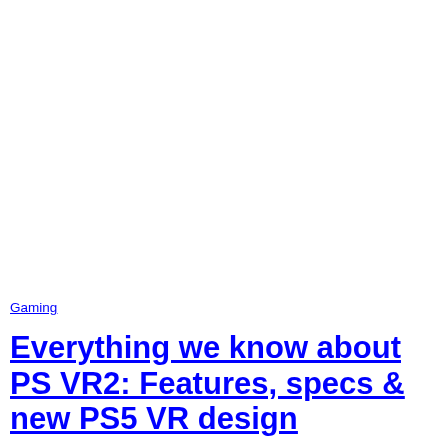Gaming
Everything we know about PS VR2: Features, specs & new PS5 VR design